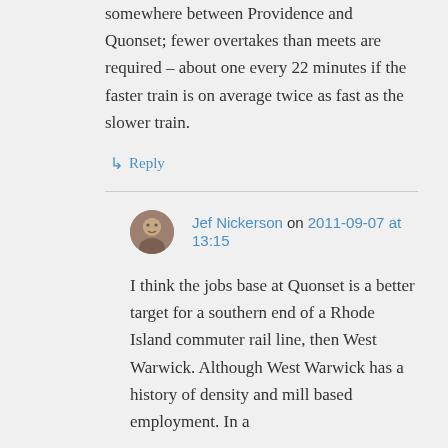somewhere between Providence and Quonset; fewer overtakes than meets are required – about one every 22 minutes if the faster train is on average twice as fast as the slower train.
↳ Reply
Jef Nickerson on 2011-09-07 at 13:15
I think the jobs base at Quonset is a better target for a southern end of a Rhode Island commuter rail line, then West Warwick. Although West Warwick has a history of density and mill based employment. In a